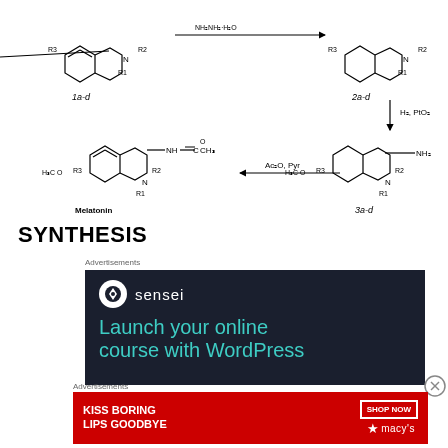[Figure (schematic): Chemical synthesis scheme showing conversion of indole compounds 1a-d and 2a-d to melatonin and intermediates 3a-d. Top row shows compounds 1a-d (left) and 2a-d (right) connected by an arrow labeled with reaction conditions. 2a-d undergoes H2, PtO2 reduction to give amine intermediate 3a-d. 3a-d reacts with Ac2O, Pyr (arrow pointing left) to give Melatonin (N-acetyltryptamine analog with H3CO substituent).]
SYNTHESIS
[Figure (screenshot): Advertisement for Sensei - 'Launch your online course with WordPress' on dark navy background with teal text]
[Figure (screenshot): Advertisement for Macy's - 'KISS BORING LIPS GOODBYE' with SHOP NOW button on red background]